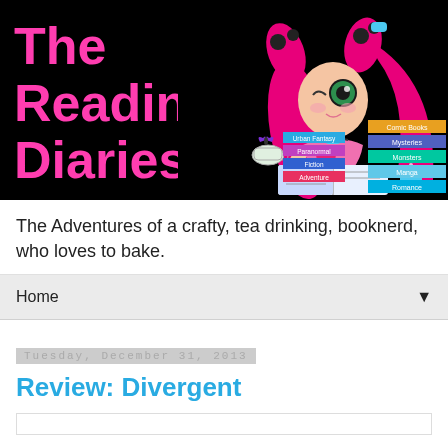[Figure (illustration): Blog header banner with black background. Left side shows 'The Reading Diaries' in large pink text. Right side features an anime-style girl with pink pigtails reading a book, surrounded by colorful genre labels (Urban Fantasy, Paranormal, Fiction, Adventure, Comic Books, Mysteries, Monsters, Romance) and a butterfly on a teacup.]
The Adventures of a crafty, tea drinking, booknerd, who loves to bake.
Home
Tuesday, December 31, 2013
Review: Divergent